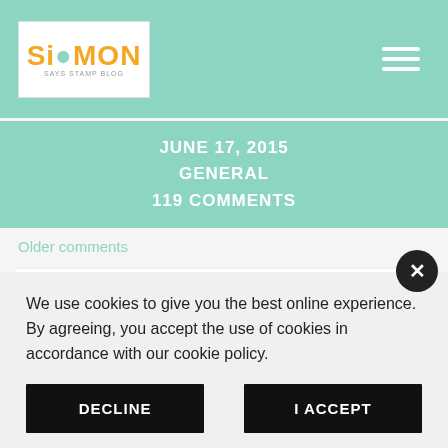Simon Says Stamp Blog - header navigation
JUNE 17, 2015
GENERAL
119 COMMENTS
Older comments
Taunya Butler
We use cookies to give you the best online experience. By agreeing, you accept the use of cookies in accordance with our cookie policy.
DECLINE
I ACCEPT
Privacy Policy   Cookie Policy